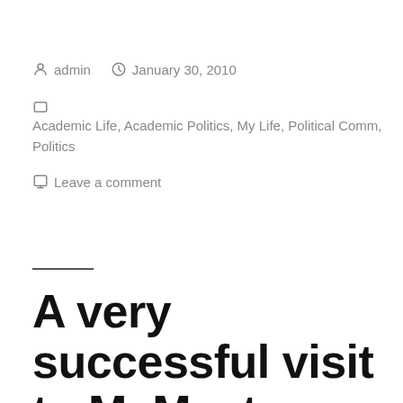By admin   January 30, 2010
Categories: Academic Life, Academic Politics, My Life, Political Comm, Politics
Leave a comment
A very successful visit to McMaster from Michael Ignatieff!